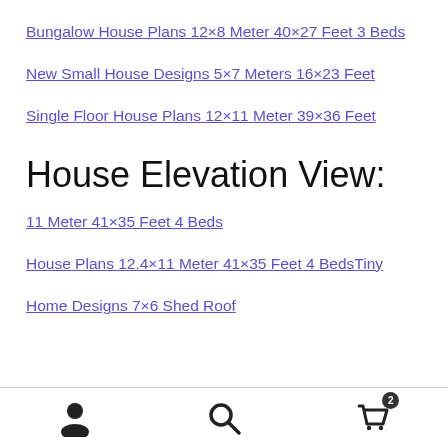Bungalow House Plans 12×8 Meter 40×27 Feet 3 Beds
New Small House Designs 5×7 Meters 16×23 Feet
Single Floor House Plans 12×11 Meter 39×36 Feet
House Elevation View:
11 Meter 41×35 Feet 4 Beds
House Plans 12.4×11 Meter 41×35 Feet 4 BedsTiny
Home Designs 7×6 Shed Roof
Navigation bar with user, search, and cart (2 items) icons